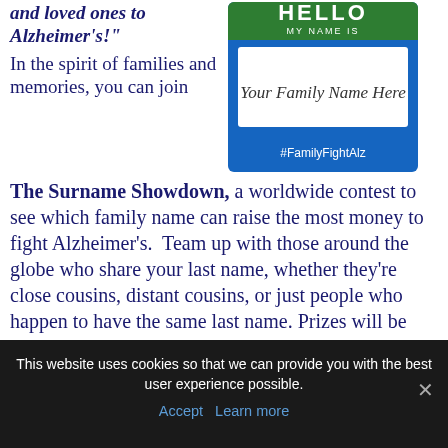and loved ones to Alzheimer's!"
[Figure (illustration): HELLO MY NAME IS badge with 'Your Family Name Here' written in cursive inside a white rectangle on a blue background with green stripe, and #FamilyFightAlz hashtag at the bottom]
In the spirit of families and memories, you can join The Surname Showdown, a worldwide contest to see which family name can raise the most money to fight Alzheimer's. Team up with those around the globe who share your last name, whether they're close cousins, distant cousins, or just people who happen to have the same last name. Prizes will be awarded at The Global
This website uses cookies so that we can provide you with the best user experience possible.
Accept   Learn more